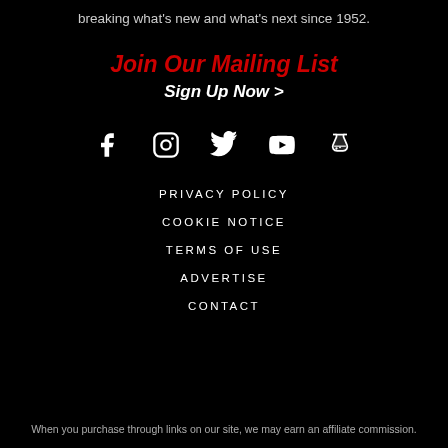breaking what's new and what's next since 1952.
Join Our Mailing List
Sign Up Now >
[Figure (infographic): Social media icons: Facebook, Instagram, Twitter, YouTube, and a fifth icon (flask/science)]
PRIVACY POLICY
COOKIE NOTICE
TERMS OF USE
ADVERTISE
CONTACT
When you purchase through links on our site, we may earn an affiliate commission.